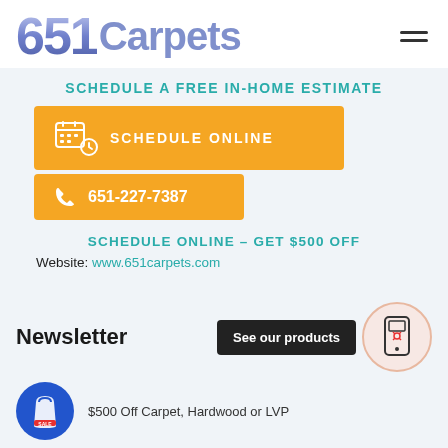[Figure (logo): 651 Carpets logo with stylized block numbers and text]
SCHEDULE A FREE IN-HOME ESTIMATE
[Figure (infographic): Orange button with calendar/clock icon and text SCHEDULE ONLINE]
[Figure (infographic): Orange button with phone icon and text 651-227-7387]
SCHEDULE ONLINE - GET $500 OFF
Website: www.651carpets.com
Newsletter
[Figure (infographic): See our products button with phone scan icon]
$500 Off Carpet, Hardwood or LVP